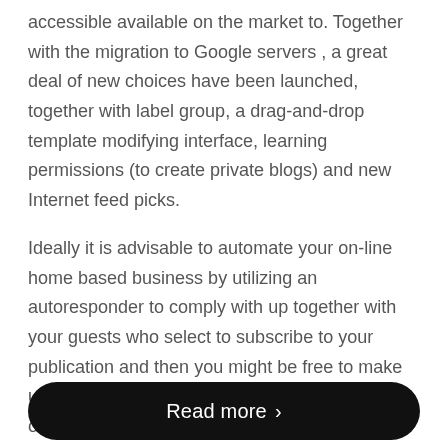accessible available on the market to. Together with the migration to Google servers , a great deal of new choices have been launched, together with label group, a drag-and-drop template modifying interface, learning permissions (to create private blogs) and new Internet feed picks.
Ideally it is advisable to automate your on-line home based business by utilizing an autoresponder to comply with up together with your guests who select to subscribe to your publication and then you might be free to make use of the time you may have available to focus on advertising and marketing the enterprise to draw targeted visitors to your web site.
...
Read more >